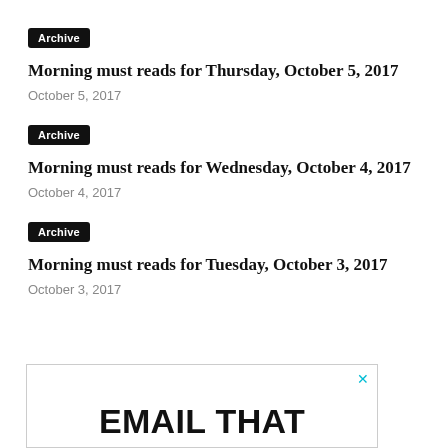Archive
Morning must reads for Thursday, October 5, 2017
October 5, 2017
Archive
Morning must reads for Wednesday, October 4, 2017
October 4, 2017
Archive
Morning must reads for Tuesday, October 3, 2017
October 3, 2017
[Figure (other): Advertisement banner with close button (x) and large text reading EMAIL THAT]